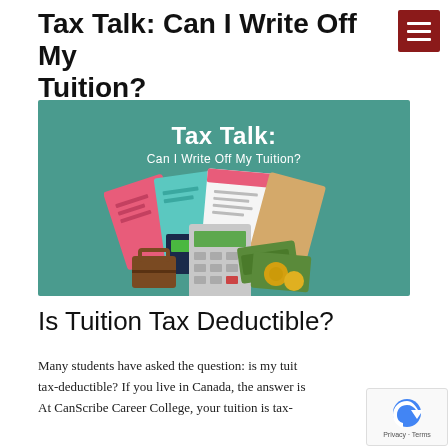Tax Talk: Can I Write Off My Tuition?
[Figure (illustration): Teal/green background promotional image titled 'Tax Talk: Can I Write Off My Tuition?' showing illustrated icons of tax documents, a calculator, money bills and coins, and a briefcase arranged in a pile.]
Is Tuition Tax Deductible?
Many students have asked the question: is my tuition tax-deductible? If you live in Canada, the answer is... At CanScribe Career College, your tuition is tax-